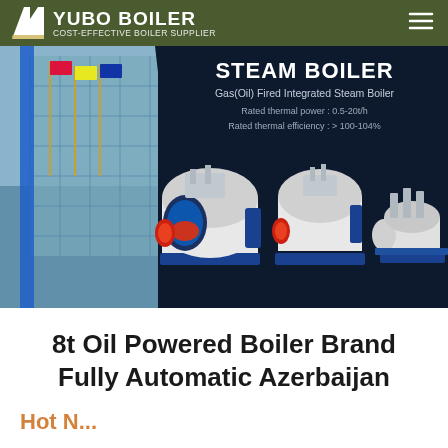YUBO BOILER — COST-EFFECTIVE BOILER SUPPLIER
[Figure (photo): Hero banner showing a Steam Boiler product page with a building on the left, three gas/oil fired integrated steam boiler units on a dark background, and text overlay: STEAM BOILER, Gas(Oil) Fired Integrated Steam Boiler, Rated thermal power: 0.5-20t/h, Rated thermal efficiency: >100-104%]
8t Oil Powered Boiler Brand Fully Automatic Azerbaijan
Hot N...